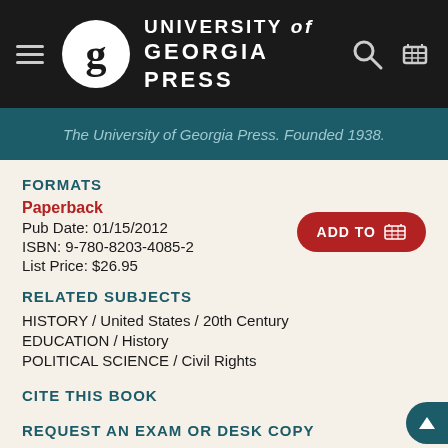[Figure (logo): University of Georgia Press logo with hamburger menu, circular G logo, press name, search and cart icons on dark background]
The University of Georgia Press. Founded 1938.
FORMATS
Paperback
Pub Date: 01/15/2012
ISBN: 9-780-8203-4085-2
List Price: $26.95
RELATED SUBJECTS
HISTORY / United States / 20th Century
EDUCATION / History
POLITICAL SCIENCE / Civil Rights
CITE THIS BOOK
REQUEST AN EXAM OR DESK COPY